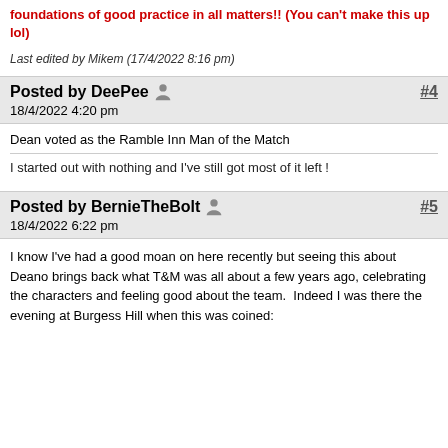foundations of good practice in all matters!! (You can't make this up lol)
Last edited by Mikem (17/4/2022 8:16 pm)
Posted by DeePee  #4
18/4/2022 4:20 pm
Dean voted as the Ramble Inn Man of the Match
I started out with nothing and I've still got most of it left !
Posted by BernieTheBolt  #5
18/4/2022 6:22 pm
I know I've had a good moan on here recently but seeing this about Deano brings back what T&M was all about a few years ago, celebrating the characters and feeling good about the team.  Indeed I was there the evening at Burgess Hill when this was coined: